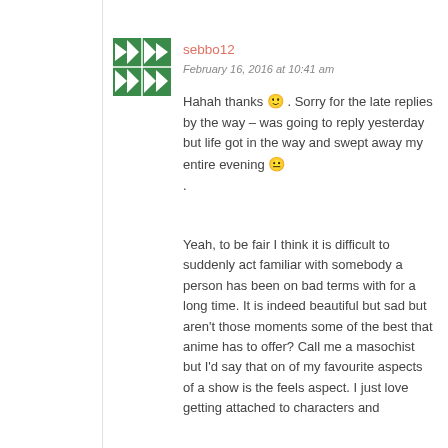[Figure (illustration): Green and white geometric/quilt pattern avatar icon for user sebbo12]
sebbo12
February 16, 2016 at 10:41 am
Hahah thanks 🙂 . Sorry for the late replies by the way – was going to reply yesterday but life got in the way and swept away my entire evening 😐 .
Yeah, to be fair I think it is difficult to suddenly act familiar with somebody a person has been on bad terms with for a long time. It is indeed beautiful but sad but aren't those moments some of the best that anime has to offer? Call me a masochist but I'd say that on of my favourite aspects of a show is the feels aspect. I just love getting attached to characters and